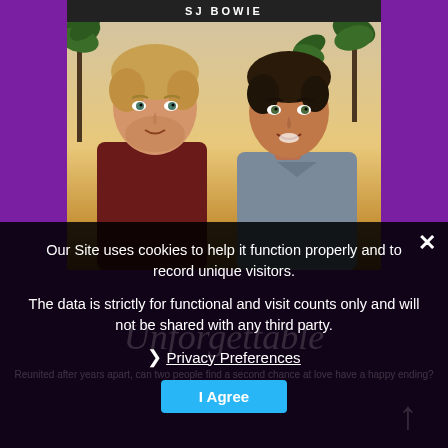[Figure (photo): Book cover showing two men (one blonde, one dark-haired) in front of palm trees with warm golden background. Author name bar at top.]
Our Site uses cookies to help it function properly and to record unique visitors.
The data is strictly for functional and visit counts only and will not be shared with any third party.
❯ Privacy Preferences
I Agree